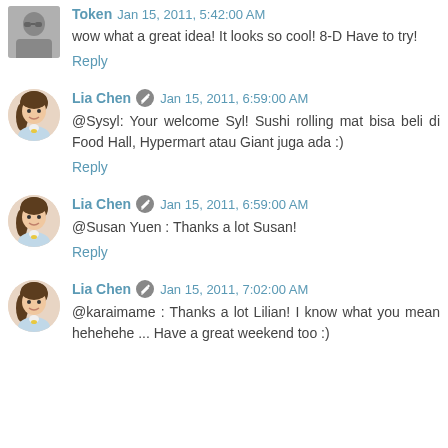Token Jan 15, 2011, 5:42:00 AM
wow what a great idea! It looks so cool! 8-D Have to try!
Reply
Lia Chen Jan 15, 2011, 6:59:00 AM
@Sysyl: Your welcome Syl! Sushi rolling mat bisa beli di Food Hall, Hypermart atau Giant juga ada :)
Reply
Lia Chen Jan 15, 2011, 6:59:00 AM
@Susan Yuen : Thanks a lot Susan!
Reply
Lia Chen Jan 15, 2011, 7:02:00 AM
@karaimame : Thanks a lot Lilian! I know what you mean hehehehe ... Have a great weekend too :)